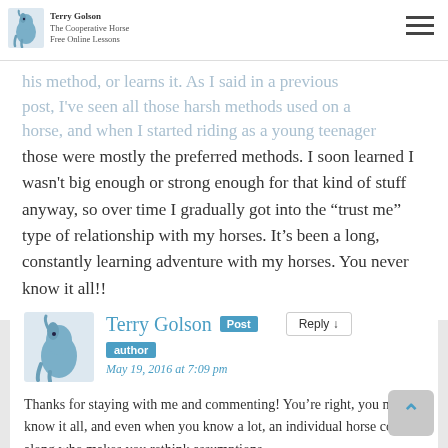Terry Golson | The Cooperative Horse | Free Online Lessons
his method, or learns it. As I said in a previous post, I've seen all those harsh methods used on a horse, and when I started riding as a young teenager those were mostly the preferred methods. I soon learned I wasn't big enough or strong enough for that kind of stuff anyway, so over time I gradually got into the “trust me” type of relationship with my horses. It’s been a long, constantly learning adventure with my horses. You never know it all!!
[Figure (photo): Horse logo avatar for Terry Golson commenter]
Terry Golson Post author
May 19, 2016 at 7:09 pm
Thanks for staying with me and commenting! You’re right, you never know it all, and even when you know a lot, an individual horse comes along who makes you rethink assumptions.